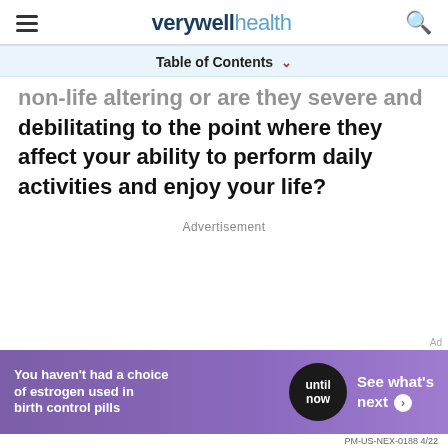verywell health
Table of Contents
non-life altering or are they severe and debilitating to the point where they affect your ability to perform daily activities and enjoy your life?
Advertisement
[Figure (other): Advertisement banner: 'You haven't had a choice of estrogen used in birth control pills' with 'until now' circle and 'See what's next' button. PM-US-NEX-0188 4/22]